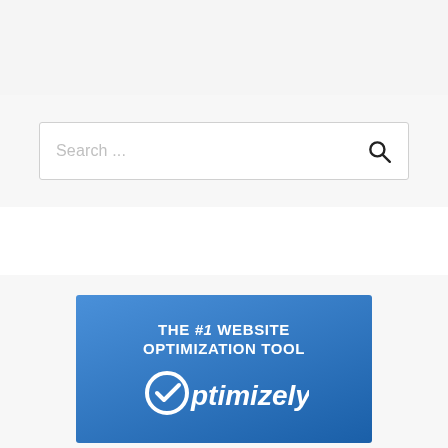[Figure (screenshot): Top gray navigation/header bar area of a website]
[Figure (screenshot): Search bar with placeholder text 'Search ...' and a search icon button on the right, set against a light gray background]
[Figure (infographic): Optimizely advertisement banner with blue gradient background. Text reads 'THE #1 WEBSITE OPTIMIZATION TOOL' with the Optimizely logo below featuring a stylized 'O' with a checkmark/arrow.]